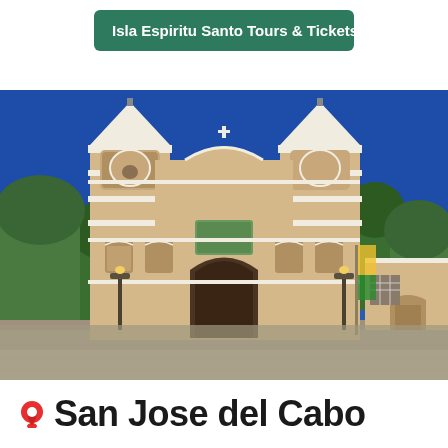Isla Espiritu Santo Tours & Tickets
[Figure (photo): Photograph of a white and tan colonial-style Catholic church with two bell towers against a bright blue sky, with a large paved plaza in front. Green trees visible on the sides and a small adjacent building on the right.]
San Jose del Cabo